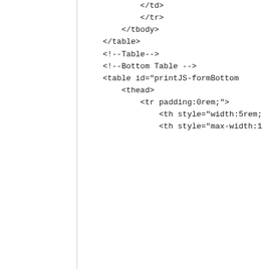</td>
            </tr>




        </tbody>




    </table>




    <!--Table-->
    <!--Bottom Table -->
    <table id="printJS-formBottom
        <thead>


            <tr padding:0rem;">


                <th style="width:5rem;
                <th style="max-width:1